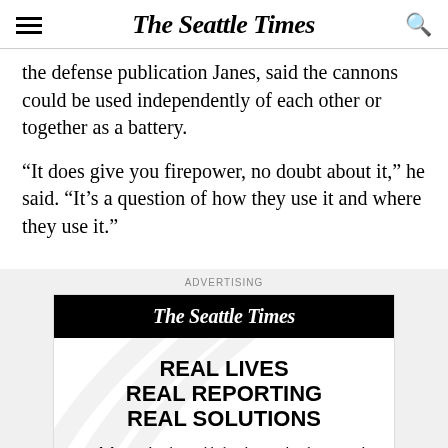The Seattle Times
the defense publication Janes, said the cannons could be used independently of each other or together as a battery.
“It does give you firepower, no doubt about it,” he said. “It’s a question of how they use it and where they use it.”
[Figure (infographic): Advertisement for The Seattle Times featuring the masthead in white on black background and text: REAL LIVES REAL REPORTING REAL SOLUTIONS. Read the stories that tackle local issues head on — and change lives.]